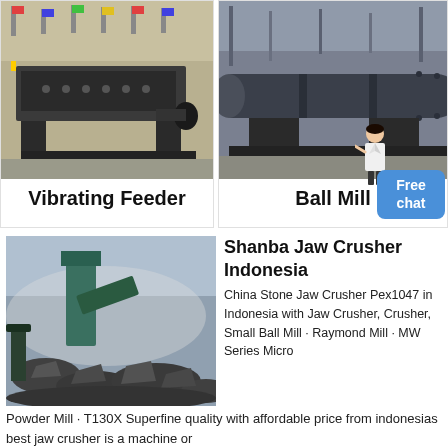[Figure (photo): Vibrating Feeder machine in a factory setting with flags in background]
Vibrating Feeder
[Figure (photo): Ball Mill large cylindrical grinding machine in industrial setting]
Ball Mill
[Figure (photo): Jaw crusher in operation with crushed stone material]
Shanba Jaw Crusher Indonesia
China Stone Jaw Crusher Pex1047 in Indonesia with Jaw Crusher, Crusher, Small Ball Mill · Raymond Mill · MW Series Micro Powder Mill · T130X Superfine quality with affordable price from indonesias best jaw crusher is a machine or